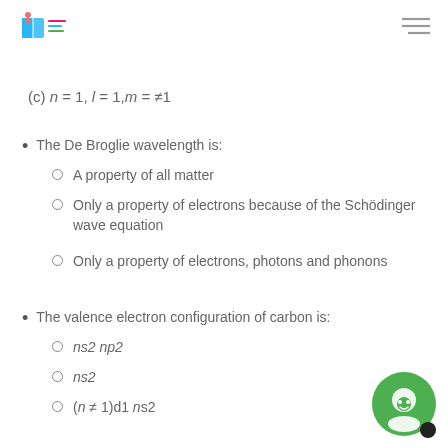Logo and navigation header
The De Broglie wavelength is:
A property of all matter
Only a property of electrons because of the Schödinger wave equation
Only a property of electrons, photons and phonons
The valence electron configuration of carbon is:
ns2 np2
ns2
(n ≠ 1)d1 ns2